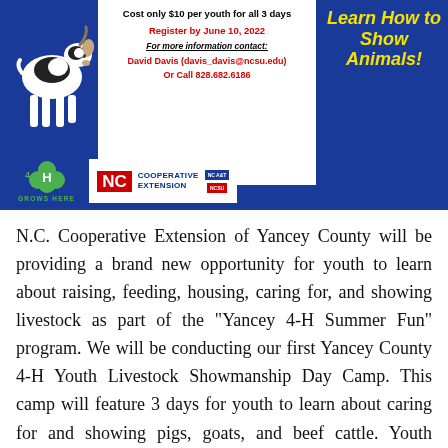[Figure (infographic): 4-H Youth Livestock Showmanship Day Camp promotional banner on blue background with a goat image, white info box showing cost and contact details, 'Learn How to Show Animals!' text in yellow italic, 4-H Grows Here logo in green, and NC Cooperative Extension logo at bottom.]
N.C. Cooperative Extension of Yancey County will be providing a brand new opportunity for youth to learn about raising, feeding, housing, caring for, and showing livestock as part of the "Yancey 4-H Summer Fun" program. We will be conducting our first Yancey County 4-H Youth Livestock Showmanship Day Camp. This camp will feature 3 days for youth to learn about caring for and showing pigs, goats, and beef cattle. Youth participating in the camp will experience hands-on learning activities with actual animals: beef steers, market pigs, and market goats. Day camp activities